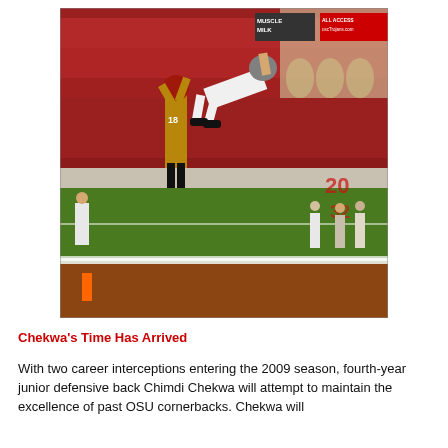[Figure (photo): A football game photo showing two players leaping for a ball near the end zone. One player in USC gold and cardinal uniform (#18) and another in white Ohio State uniform. Crowd fills the stadium bleachers in the background. Stadium signage visible including 'MUSCLE MILK' and 'ALL ACCESS uscTrojans.com'. Orange pylon visible in lower left corner.]
Chekwa's Time Has Arrived
With two career interceptions entering the 2009 season, fourth-year junior defensive back Chimdi Chekwa will attempt to maintain the excellence of past OSU cornerbacks. Chekwa will